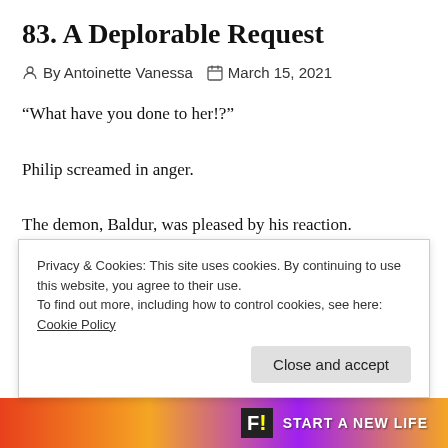83. A Deplorable Request
By Antoinette Vanessa   March 15, 2021
“What have you done to her!?”
Philip screamed in anger.
The demon, Baldur, was pleased by his reaction.
“She did it to herself. She was trying to help a little boy
Privacy & Cookies: This site uses cookies. By continuing to use this website, you agree to their use.
To find out more, including how to control cookies, see here: Cookie Policy
[Figure (other): Advertisement banner with colorful gradient background and text 'START A NEW LIFE']